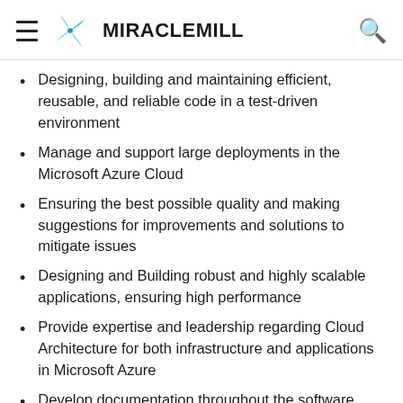MIRACLEMILL
Designing, building and maintaining efficient, reusable, and reliable code in a test-driven environment
Manage and support large deployments in the Microsoft Azure Cloud
Ensuring the best possible quality and making suggestions for improvements and solutions to mitigate issues
Designing and Building robust and highly scalable applications, ensuring high performance
Provide expertise and leadership regarding Cloud Architecture for both infrastructure and applications in Microsoft Azure
Develop documentation throughout the software development life cycle (SDLC)
Working proactively as a part of a cross-